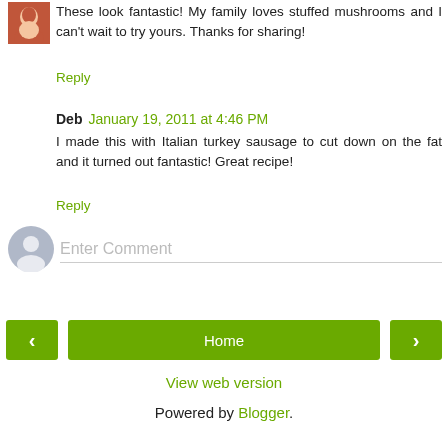[Figure (photo): Small avatar photo of a woman in red top]
These look fantastic! My family loves stuffed mushrooms and I can't wait to try yours. Thanks for sharing!
Reply
Deb  January 19, 2011 at 4:46 PM
I made this with Italian turkey sausage to cut down on the fat and it turned out fantastic! Great recipe!
Reply
[Figure (illustration): Generic user avatar placeholder icon (grey circle with person silhouette)]
Enter Comment
< Home >
View web version
Powered by Blogger.